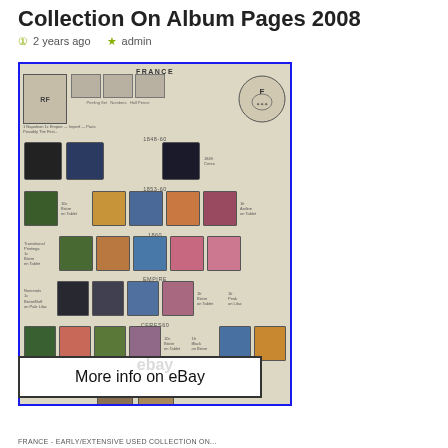Collection On Album Pages 2008
2 years ago   admin
[Figure (photo): A France stamp album page showing multiple classic French stamps arranged in rows with labels, bordered by a blue rectangle. Stamps include early French issues with portraits and coat of arms. eBay watermark visible.]
More info on eBay
FRANCE - EARLY/EXTENSIVE USED COLLECTION ON...